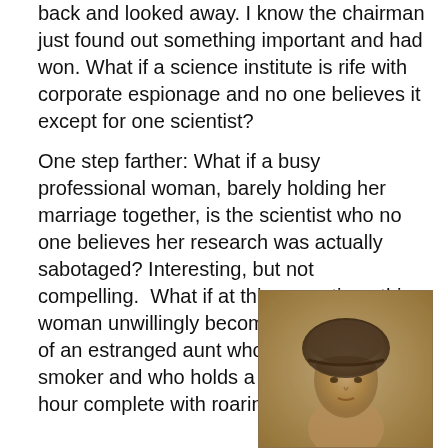back and looked away. I know the chairman just found out something important and had won. What if a science institute is rife with corporate espionage and no one believes it except for one scientist?
One step farther: What if a busy professional woman, barely holding her marriage together, is the scientist who no one believes her research was actually sabotaged? Interesting, but not compelling.  What if at this same time, this woman unwillingly becomes the caretaker of an estranged aunt who's a sloppy chain-smoker and who holds a nightly cocktail hour complete with roaring 20's stories?
[Figure (photo): Sepia-toned vintage photograph of a woman wearing a 1920s-style cloche hat, looking at the camera with a neutral expression. The photo has an aged, brownish tone.]